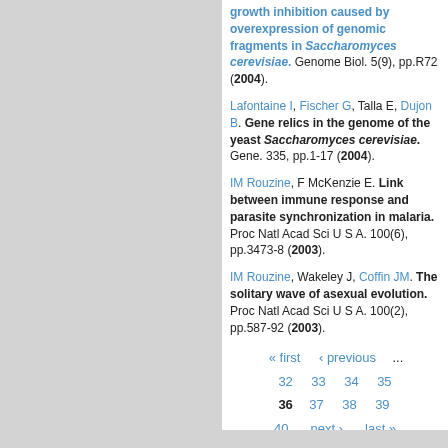growth inhibition caused by overexpression of genomic fragments in Saccharomyces cerevisiae. Genome Biol. 5(9), pp.R72 (2004).
Lafontaine I, Fischer G, Talla E, Dujon B. Gene relics in the genome of the yeast Saccharomyces cerevisiae. Gene. 335, pp.1-17 (2004).
IM Rouzine, F McKenzie E. Link between immune response and parasite synchronization in malaria. Proc Natl Acad Sci U S A. 100(6), pp.3473-8 (2003).
IM Rouzine, Wakeley J, Coffin JM. The solitary wave of asexual evolution. Proc Natl Acad Sci U S A. 100(2), pp.587-92 (2003).
« first ‹ previous ... 32 33 34 35 36 37 38 39 40 next › last »